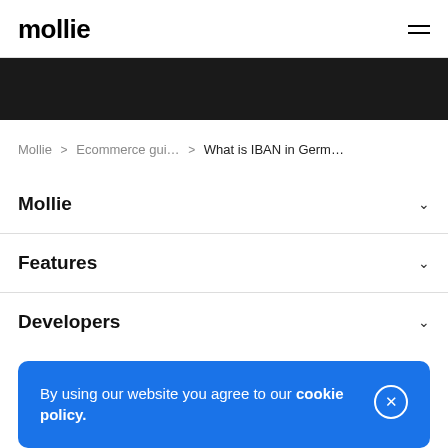mollie
[Figure (other): Dark banner / hero image placeholder]
Mollie > Ecommerce gui... > What is IBAN in Germ...
Mollie
Features
Developers
By using our website you agree to our cookie policy.